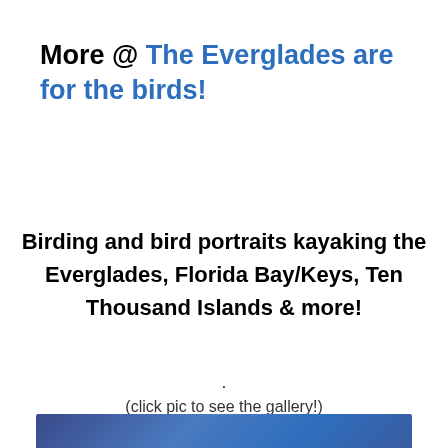More @ The Everglades are for the birds!
Birding and bird portraits kayaking the Everglades, Florida Bay/Keys, Ten Thousand Islands & more!
.
(click pic to see the gallery!)